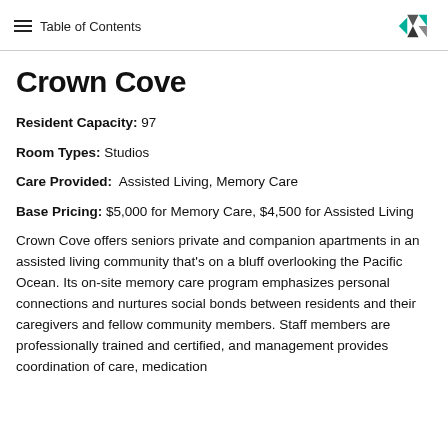Table of Contents
Crown Cove
Resident Capacity: 97
Room Types: Studios
Care Provided: Assisted Living, Memory Care
Base Pricing: $5,000 for Memory Care, $4,500 for Assisted Living
Crown Cove offers seniors private and companion apartments in an assisted living community that's on a bluff overlooking the Pacific Ocean. Its on-site memory care program emphasizes personal connections and nurtures social bonds between residents and their caregivers and fellow community members. Staff members are professionally trained and certified, and management provides coordination of care, medication